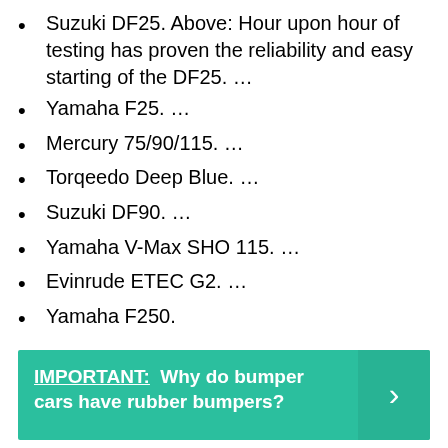Suzuki DF25. Above: Hour upon hour of testing has proven the reliability and easy starting of the DF25. …
Yamaha F25. …
Mercury 75/90/115. …
Torqeedo Deep Blue. …
Suzuki DF90. …
Yamaha V-Max SHO 115. …
Evinrude ETEC G2. …
Yamaha F250.
IMPORTANT: Why do bumper cars have rubber bumpers?
When did they stop making force outboards?